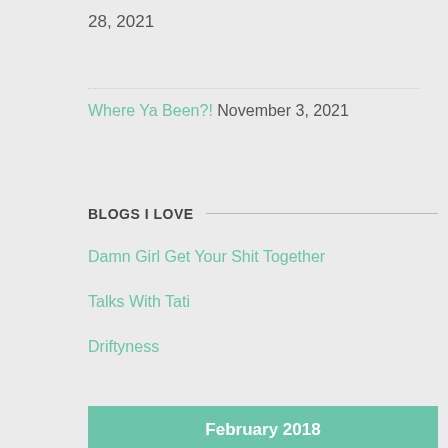28, 2021
Where Ya Been?! November 3, 2021
BLOGS I LOVE
Damn Girl Get Your Shit Together
Talks With Tati
Driftyness
Healthy Living For Hot Messes
Lets Build Futures
| S | M | T | W | T | F | S |
| --- | --- | --- | --- | --- | --- | --- |